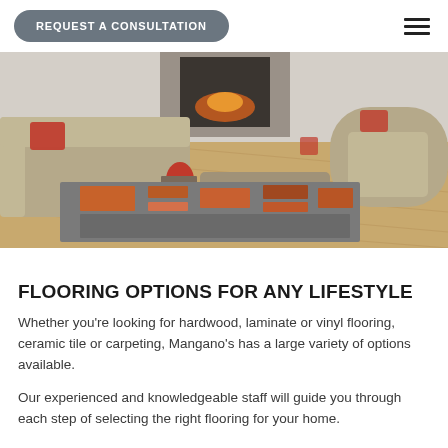REQUEST A CONSULTATION
[Figure (photo): A living room interior with hardwood flooring, a beige sofa, a patterned orange and grey area rug, a metal side table with a red decorative object, and a fireplace in the background.]
FLOORING OPTIONS FOR ANY LIFESTYLE
Whether you're looking for hardwood, laminate or vinyl flooring, ceramic tile or carpeting, Mangano's has a large variety of options available.
Our experienced and knowledgeable staff will guide you through each step of selecting the right flooring for your home.